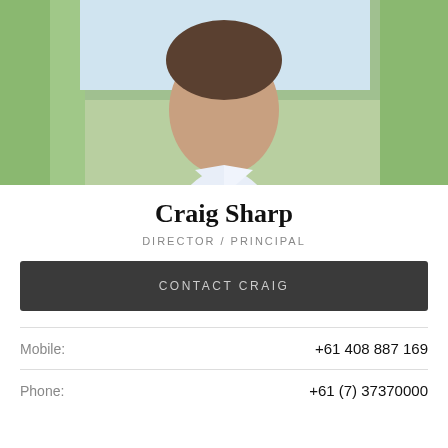[Figure (photo): Professional headshot of Craig Sharp, a man in a blue suit jacket and white dress shirt, photographed outdoors with trees in background]
Craig Sharp
DIRECTOR / PRINCIPAL
CONTACT CRAIG
Mobile:  +61 408 887 169
Phone:  +61 (7) 37370000